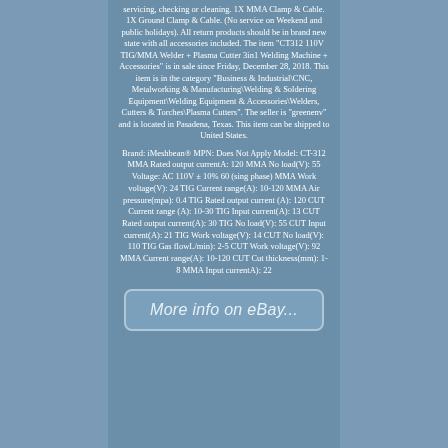servicing, checking or cleaning. 1X MMA Clamp & Cable. 1X Ground Clamp & Cable. (No service on Weekend and public holidays). All return products should be in brand new state with all accessories included. The item "CT312 110V TIG/MMA Welder + Plasma Cutter 3in1 Welding Machine + Accessories" is in sale since Friday, December 28, 2018. This item is in the category "Business & Industrial\CNC, Metalworking & Manufacturing\Welding & Soldering Equipment\Welding Equipment & Accessories\Welders, Cutters & Torches\Plasma Cutters". The seller is "greenenv" and is located in Pasadena, Texas. This item can be shipped to United States.
Brand: iMeshbean® MPN: Does Not Apply Model: CT-312 MMA Rated output currentA: 120 MMA No load(V): 55 Voltage: AC 110V ± 10% 60 (sing phase) MMA Work voltage(V): 24 TIG Current range(A): 10-120 MMA Air pressure(mpa): 0.4 TIG Rated output current (A): 120 CUT Current range (A): 10-30 TIG Input current(A): 13 CUT Rated output current(A): 30 TIG No load(V): 55 CUT Input current(A): 21 TIG Work voltage(V): 14 CUT No load(V): 110 TIG Gas flowL/min): 2-5 CUT Work voltage(V): 92 MMA Current range(A): 10-120 CUT Cut thickness(mm): 1-8 MMA Input currentA): 22
[Figure (other): Button/banner reading 'More info on eBay...' with rounded rectangle border on blue-grey background]